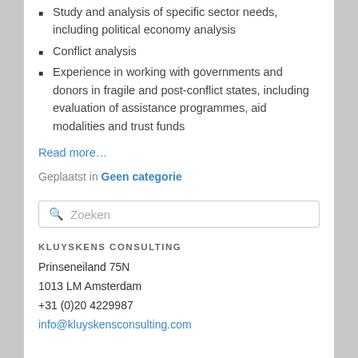Study and analysis of specific sector needs, including political economy analysis
Conflict analysis
Experience in working with governments and donors in fragile and post-conflict states, including evaluation of assistance programmes, aid modalities and trust funds
Read more…
Geplaatst in Geen categorie
Zoeken
KLUYSKENS CONSULTING
Prinseneiland 75N
1013 LM Amsterdam
+31 (0)20 4229987
info@kluyskensconsulting.com